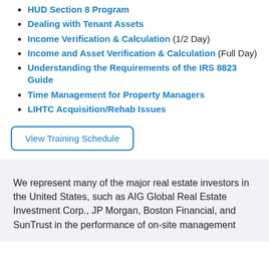HUD Section 8 Program
Dealing with Tenant Assets
Income Verification & Calculation (1/2 Day)
Income and Asset Verification & Calculation (Full Day)
Understanding the Requirements of the IRS 8823 Guide
Time Management for Property Managers
LIHTC Acquisition/Rehab Issues
View Training Schedule
We represent many of the major real estate investors in the United States, such as AIG Global Real Estate Investment Corp., JP Morgan, Boston Financial, and SunTrust in the performance of on-site management